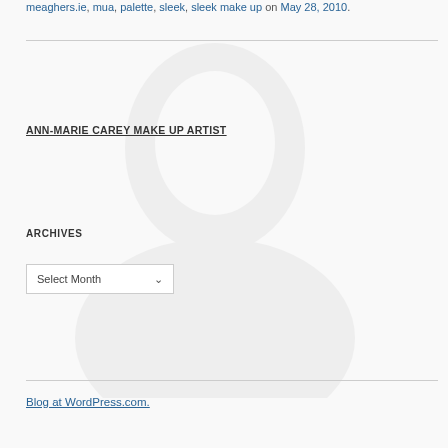meaghers.ie, mua, palette, sleek, sleek make up on May 28, 2010.
ANN-MARIE CAREY MAKE UP ARTIST
ARCHIVES
Select Month
Blog at WordPress.com.